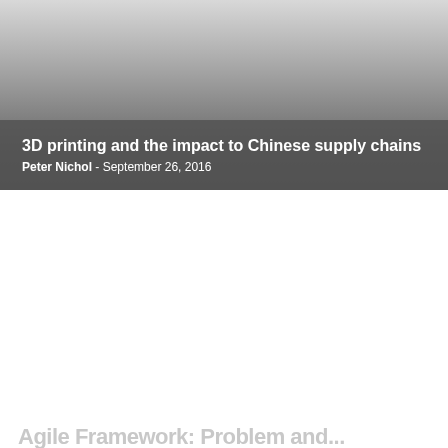[Figure (photo): Hero banner image with gradient from light gray at top to dark gray at bottom, representing a cover image for an article about 3D printing and Chinese supply chains.]
3D printing and the impact to Chinese supply chains
Peter Nichol - September 26, 2016
Agile Framework: Problem and...